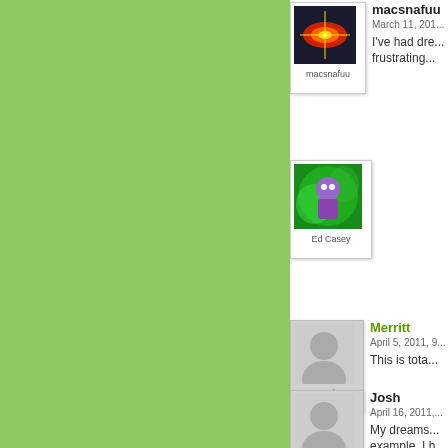[Figure (illustration): Green sidebar background]
macsnafuu
March 11, 201...
I've had dre... frustrating...
[Figure (photo): macsnafuu avatar - polaroid style with crosshair/target image]
[Figure (photo): Ed Casey avatar - polaroid style with green swirl character image]
Merritt
April 5, 2011, 9...
This is tota...
[Figure (illustration): Merritt avatar - generic gray silhouette]
Josh
April 16, 2011,...
My dreams... example, I h... like to be a...
[Figure (illustration): Josh avatar - generic gray silhouette]